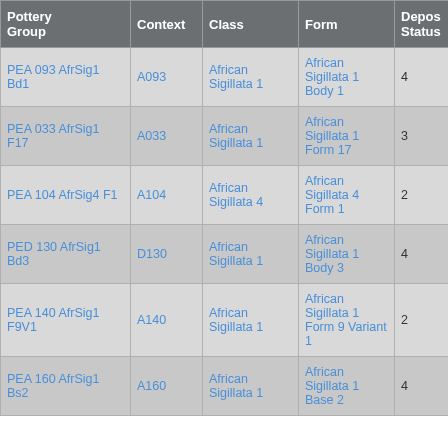| Pottery Group | Context | Class | Form | Depos Status | R Ct | R EVP |
| --- | --- | --- | --- | --- | --- | --- |
| PEA 093 AfrSig1 Bd1 | A093 | African Sigillata 1 | African Sigillata 1 Body 1 | 4 |  |  |
| PEA 033 AfrSig1 F17 | A033 | African Sigillata 1 | African Sigillata 1 Form 17 | 3 | 1 | 1 |
| PEA 104 AfrSig4 F1 | A104 | African Sigillata 4 | African Sigillata 4 Form 1 | 2 | 1 | 1 |
| PED 130 AfrSig1 Bd3 | D130 | African Sigillata 1 | African Sigillata 1 Body 3 | 4 |  |  |
| PEA 140 AfrSig1 F9V1 | A140 | African Sigillata 1 | African Sigillata 1 Form 9 Variant 1 | 2 | 1 | 1 |
| PEA 160 AfrSig1 Bs2 | A160 | African Sigillata 1 | African Sigillata 1 Base 2 | 4 |  |  |